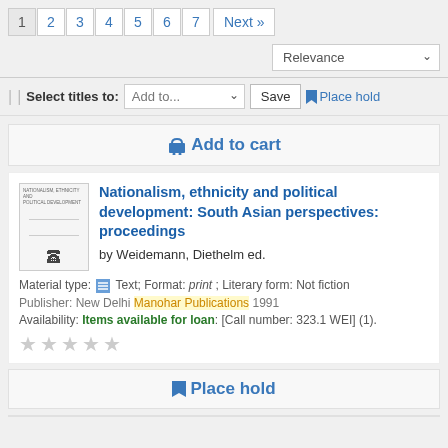1 2 3 4 5 6 7 Next »
Relevance
Select titles to: Add to... Save  Place hold
🛒 Add to cart
Nationalism, ethnicity and political development: South Asian perspectives: proceedings
by Weidemann, Diethelm ed.
Material type: Text; Format: print ; Literary form: Not fiction
Publisher: New Delhi Manohar Publications 1991
Availability: Items available for loan: [Call number: 323.1 WEI] (1).
★★★★★
🔖 Place hold